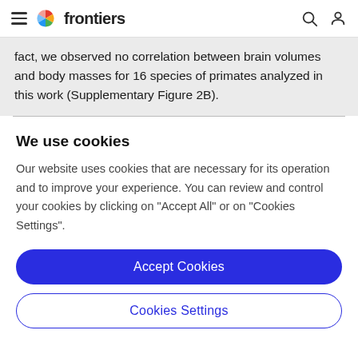frontiers
fact, we observed no correlation between brain volumes and body masses for 16 species of primates analyzed in this work (Supplementary Figure 2B).
We use cookies
Our website uses cookies that are necessary for its operation and to improve your experience. You can review and control your cookies by clicking on "Accept All" or on "Cookies Settings".
Accept Cookies
Cookies Settings